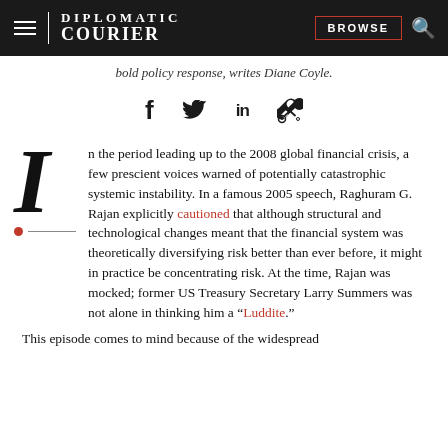DIPLOMATIC COURIER | BROWSE
bold policy response, writes Diane Coyle.
In the period leading up to the 2008 global financial crisis, a few prescient voices warned of potentially catastrophic systemic instability. In a famous 2005 speech, Raghuram G. Rajan explicitly cautioned that although structural and technological changes meant that the financial system was theoretically diversifying risk better than ever before, it might in practice be concentrating risk. At the time, Rajan was mocked; former US Treasury Secretary Larry Summers was not alone in thinking him a “Luddite.”
This episode comes to mind because of the widespread